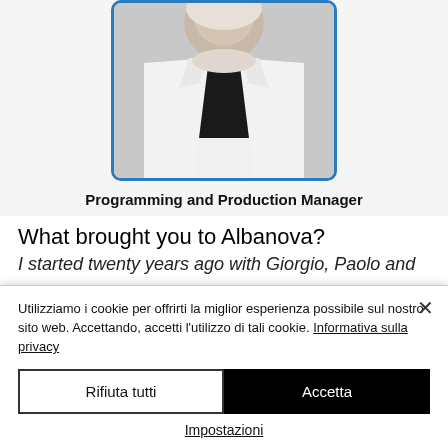[Figure (photo): A person wearing a white lab coat and black turtleneck, cropped to show torso and partial face, within a blue-bordered rounded rectangle frame.]
Programming and Production Manager
What brought you to Albanova?
I started twenty years ago with Giorgio, Paolo and
Utilizziamo i cookie per offrirti la miglior esperienza possibile sul nostro sito web. Accettando, accetti l'utilizzo di tali cookie. Informativa sulla privacy
Rifiuta tutti
Accetta
Impostazioni